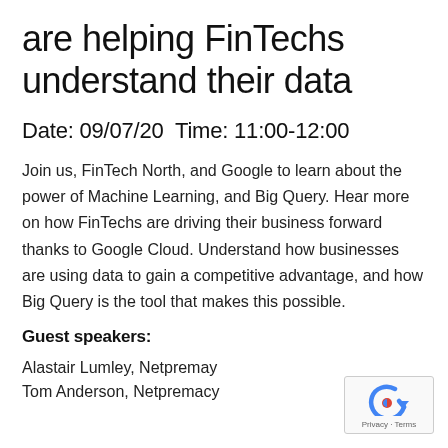are helping FinTechs understand their data
Date: 09/07/20 Time: 11:00-12:00
Join us, FinTech North, and Google to learn about the power of Machine Learning, and Big Query. Hear more on how FinTechs are driving their business forward thanks to Google Cloud. Understand how businesses are using data to gain a competitive advantage, and how Big Query is the tool that makes this possible.
Guest speakers:
Alastair Lumley, Netpremay
Tom Anderson, Netpremacy